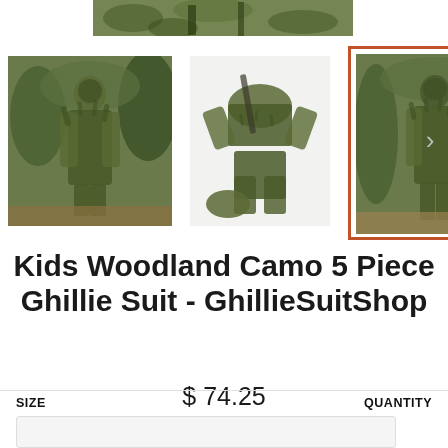[Figure (photo): Top partial product image of ghillie suit, cropped at top]
[Figure (photo): Thumbnail 1: Child wearing woodland camo ghillie suit standing in front of bushes]
[Figure (photo): Thumbnail 2: Flat lay of all 5 pieces of woodland camo ghillie suit set]
[Figure (photo): Thumbnail 3 (selected, highlighted with orange border): Child wearing woodland camo ghillie suit in nature setting]
Kids Woodland Camo 5 Piece Ghillie Suit - GhillieSuitShop
$ 74.25
Tax included. Shipping calculated at checkout.
SIZE
QUANTITY